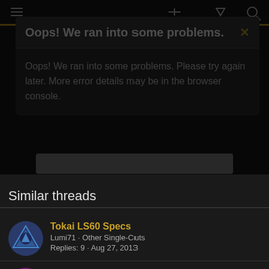Oops! We ran into some problems.
Oops! We ran into some problems. Please try again later. More error details may be in the browser console.
Similar threads
Tokai LS60 Specs
Lumi71 · Other Single-Cuts
Replies: 9 · Aug 27, 2013
Tokai facts, theory, photos & ID thread
reborn old · Other Single-Cuts
Replies: 803 · Aug 24, 2021
Looks like a Nice grab
swampblues · Other Single-Cuts
Replies: 14 · May 4, 2019
The Tokai 1978-1985 Theory, Photo, & ID thread